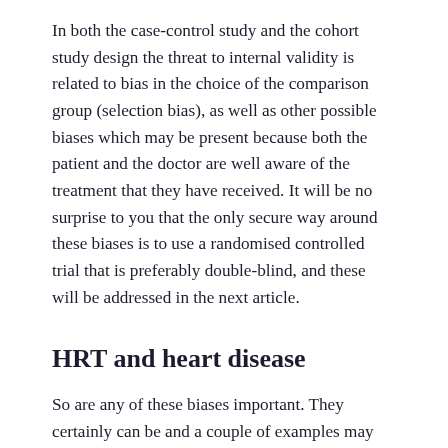In both the case-control study and the cohort study design the threat to internal validity is related to bias in the choice of the comparison group (selection bias), as well as other possible biases which may be present because both the patient and the doctor are well aware of the treatment that they have received. It will be no surprise to you that the only secure way around these biases is to use a randomised controlled trial that is preferably double-blind, and these will be addressed in the next article.
HRT and heart disease
So are any of these biases important. They certainly can be and a couple of examples may help to show how. In the early non-randomised studies of Hormone Replacement Therapy the results